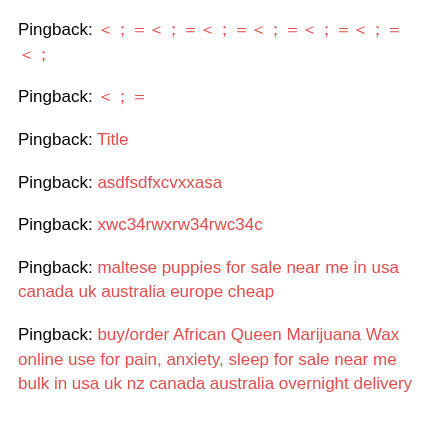Pingback: [Chinese characters]
Pingback: [Chinese characters]
Pingback: Title
Pingback: asdfsdfxcvxxasa
Pingback: xwc34rwxrw34rwc34c
Pingback: maltese puppies for sale near me in usa canada uk australia europe cheap
Pingback: buy/order African Queen Marijuana Wax online use for pain, anxiety, sleep for sale near me bulk in usa uk nz canada australia overnight delivery